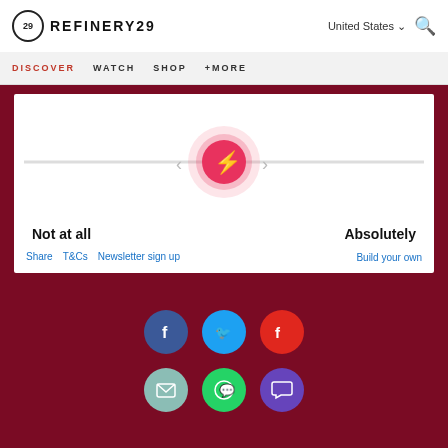REFINERY29 | United States | Search
DISCOVER  WATCH  SHOP  +MORE
[Figure (infographic): Slider UI element with a lightning bolt knob centered on a horizontal track. Left label: Not at all. Right label: Absolutely.]
Not at all
Absolutely
Share  T&Cs  Newsletter sign up  Build your own
[Figure (infographic): Social media sharing icons: Facebook (blue), Twitter (cyan), Flipboard (red), Email (teal), WhatsApp (green), Message (purple)]